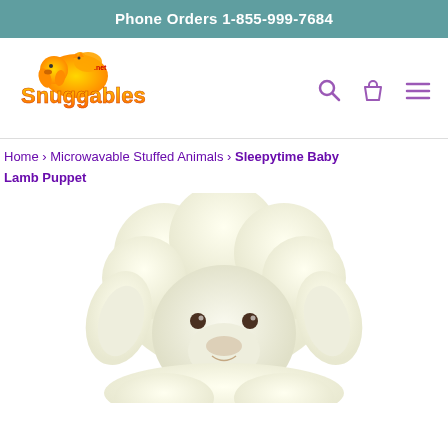Phone Orders 1-855-999-7684
[Figure (logo): Snuggables.net logo with cartoon dogs and cats, colorful orange and yellow gradient text]
[Figure (other): Search icon, shopping bag icon, and hamburger menu icon in purple]
Home › Microwavable Stuffed Animals › Sleepytime Baby Lamb Puppet
[Figure (photo): Close-up photo of a cream/white plush baby lamb puppet stuffed animal with floppy ears and small brown eyes]